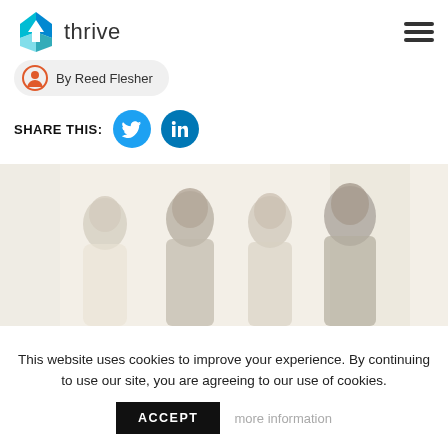[Figure (logo): Thrive logo with blue diamond/house icon and text 'thrive']
By Reed Flesher
SHARE THIS:
[Figure (photo): Blurred photo of a group of people standing and talking in a bright office or meeting space]
This website uses cookies to improve your experience. By continuing to use our site, you are agreeing to our use of cookies.
ACCEPT
more information